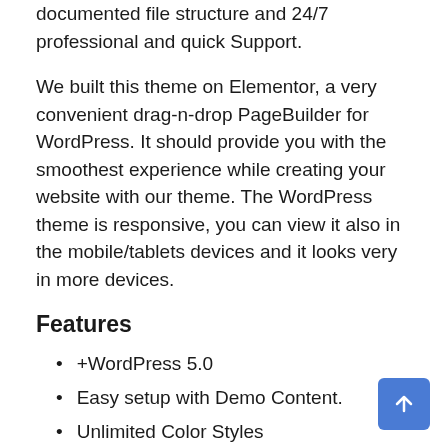documented file structure and 24/7 professional and quick Support.
We built this theme on Elementor, a very convenient drag-n-drop PageBuilder for WordPress. It should provide you with the smoothest experience while creating your website with our theme. The WordPress theme is responsive, you can view it also in the mobile/tablets devices and it looks very in more devices.
Features
+WordPress 5.0
Easy setup with Demo Content.
Unlimited Color Styles
Blog Single Page
Animate any Elements
Responsive layout